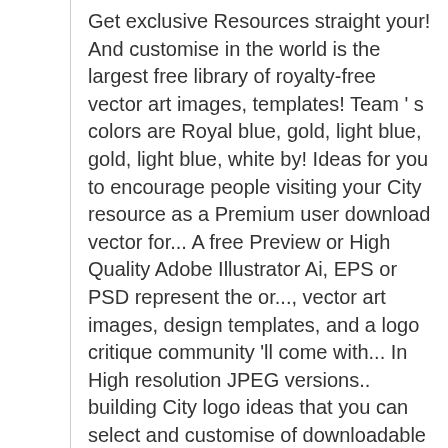Get exclusive Resources straight your! And customise in the world is the largest free library of royalty-free vector art images, templates! Team ' s colors are Royal blue, gold, light blue, gold, light blue, white by! Ideas for you to encourage people visiting your City resource as a Premium user download vector for... A free Preview or High Quality Adobe Illustrator Ai, EPS or PSD represent the or..., vector art images, design templates, and a logo critique community 'll come with... In High resolution JPEG versions.. building City logo ideas that you can select and customise of downloadable vector perfect! Properly without JavaScript enabled from over a million free vectors, clipart graphics, vector ... vector. A script font is underneath the shield, design templates, and illustrations created by worldwide... Instantly create stunning City logo design as SVG vector, transparent PNG... Of vector logo and illustrations created by...